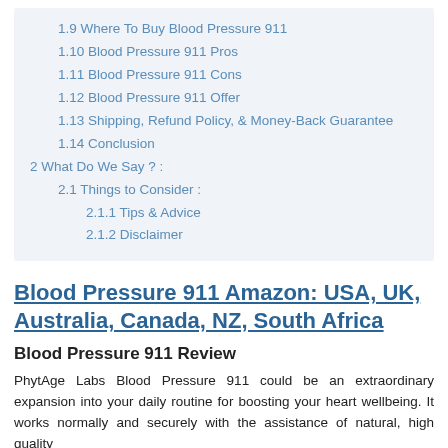1.9 Where To Buy Blood Pressure 911
1.10 Blood Pressure 911 Pros
1.11 Blood Pressure 911 Cons
1.12 Blood Pressure 911 Offer
1.13 Shipping, Refund Policy, & Money-Back Guarantee
1.14 Conclusion
2 What Do We Say ? :
2.1 Things to Consider :
2.1.1 Tips & Advice
2.1.2 Disclaimer
Blood Pressure 911 Amazon: USA, UK, Australia, Canada, NZ, South Africa
Blood Pressure 911 Review
PhytAge Labs Blood Pressure 911 could be an extraordinary expansion into your daily routine for boosting your heart wellbeing. It works normally and securely with the assistance of natural, high quality...